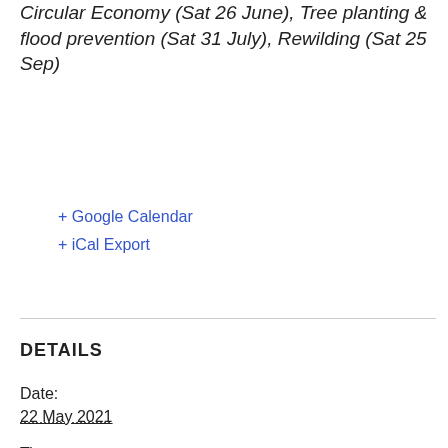Circular Economy (Sat 26 June), Tree planting & flood prevention (Sat 31 July), Rewilding (Sat 25 Sep)
+ Google Calendar
+ iCal Export
DETAILS
Date:
22 May 2021
Time:
11:00 am - 12:30 pm
ORGANISERS
Transition Chesterfield